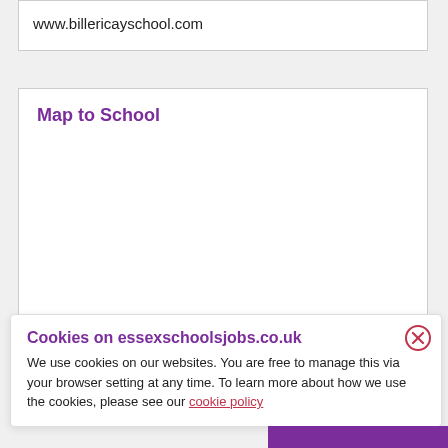www.billericayschool.com
Map to School
[Figure (other): Empty map area placeholder with white background]
Cookies on essexschoolsjobs.co.uk
We use cookies on our websites. You are free to manage this via your browser setting at any time. To learn more about how we use the cookies, please see our cookie policy